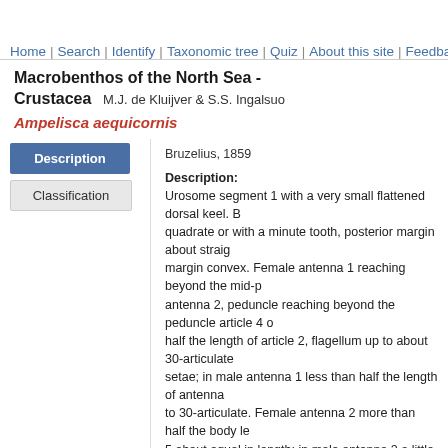Home | Search | Identify | Taxonomic tree | Quiz | About this site | Feedback
Macrobenthos of the North Sea - Crustacea   M.J. de Kluijver & S.S. Ingalsuo
Ampelisca aequicornis
Description
Classification
Bruzelius, 1859
Description: Urosome segment 1 with a very small flattened dorsal keel. B... quadrate or with a minute tooth, posterior margin about strai... margin convex. Female antenna 1 reaching beyond the mid-p... antenna 2, peduncle reaching beyond the peduncle article 4 ... half the length of article 2, flagellum up to about 30-articulate... setae; in male antenna 1 less than half the length of antenna... to 30-articulate. Female antenna 2 more than half the body le... 5 about equal in length; in male antenna 2 a little longer than... extremely slender. Pereiopod 3 merus without a distal lobe; p... rather straight, equal to the length of the carpus and propodu... longer than rest of the appendage, ischium longer than the m... oval. Uropods 1 and 2 with small marginal spines; uropod 3 n... distal setae. Telson elongate, deeply cleft, each lobe with one... small group of apical setules.
Size: